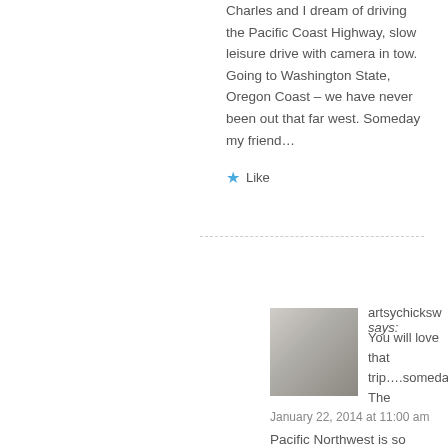Charles and I dream of driving the Pacific Coast Highway, slow leisure drive with camera in tow. Going to Washington State, Oregon Coast – we have never been out that far west. Someday my friend…
★ Like
artsychicksw says: You will love that trip….someday. The
January 22, 2014 at 11:00 am
Pacific Northwest is so gorgeous and filled with so many points of